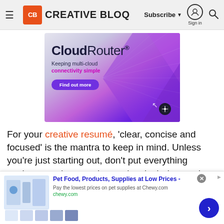≡ CB CREATIVE BLOQ  Subscribe ▼  Sign in  🔍
[Figure (illustration): CloudRouter advertisement banner. Text reads 'CloudRouter® Keeping multi-cloud connectivity simple' with a purple 'Find out more' button and geometric purple gradient shapes on right side.]
For your creative resumé, 'clear, concise and focused' is the mantra to keep in mind. Unless you're just starting out, don't put everything you've ever done on there – just include your best work that is most
[Figure (screenshot): Bottom ad strip for Chewy.com: 'Pet Food, Products, Supplies at Low Prices - Pay the lowest prices on pet supplies at Chewy.com' with product images and a blue next arrow button.]